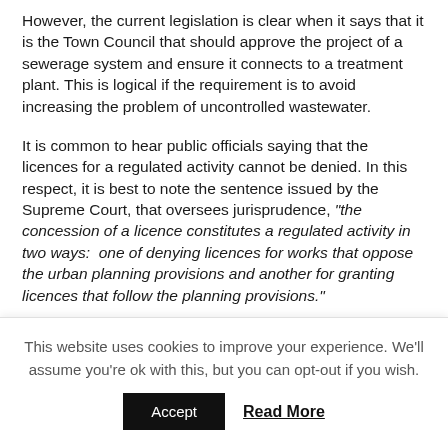However, the current legislation is clear when it says that it is the Town Council that should approve the project of a sewerage system and ensure it connects to a treatment plant. This is logical if the requirement is to avoid increasing the problem of uncontrolled wastewater.
It is common to hear public officials saying that the licences for a regulated activity cannot be denied. In this respect, it is best to note the sentence issued by the Supreme Court, that oversees jurisprudence, "the concession of a licence constitutes a regulated activity in two ways: one of denying licences for works that oppose the urban planning provisions and another for granting licences that follow the planning provisions."
The sentence from the Court...
This website uses cookies to improve your experience. We'll assume you're ok with this, but you can opt-out if you wish.